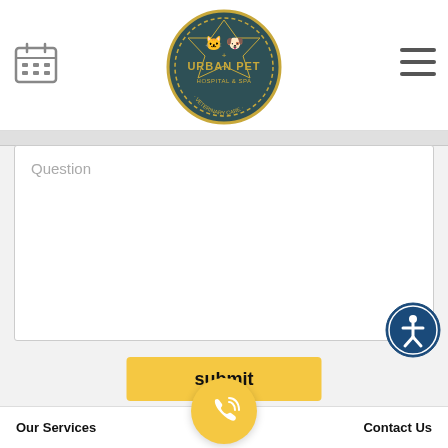[Figure (logo): Urban Pet hospital logo — circular dark teal emblem with 'URBAN PET' text and animal silhouettes, yellow accents]
[Figure (illustration): Calendar icon — outline style calendar graphic in top-left header]
[Figure (illustration): Hamburger menu icon — three horizontal lines in top-right header]
Question
[Figure (illustration): Accessibility icon — blue circular button with wheelchair/person symbol]
submit
[Figure (photo): Partial photos of pets (dogs/cats) along the bottom strip]
Our Services
[Figure (illustration): Phone call FAB — yellow circular button with phone/signal icon]
Contact Us